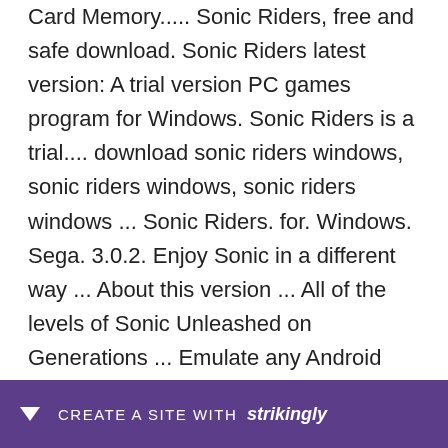Card Memory..... Sonic Riders, free and safe download. Sonic Riders latest version: A trial version PC games program for Windows. Sonic Riders is a trial.... download sonic riders windows, sonic riders windows, sonic riders windows ... Sonic Riders. for. Windows. Sega. 3.0.2. Enjoy Sonic in a different way ... About this version ... All of the levels of Sonic Unleashed on Generations ... Emulate any Android app on your PC ... A 2D fighting game with the characters from Sonic.. Sonic Riders Download new game pc iso, Repack pc game, Crack game pc gog, Direct link game pc, Download full iso game pc vr.. Sonic Riders Version
[Figure (other): Purple banner at bottom of page reading 'CREATE A SITE WITH strikingly' with a downward arrow icon on the left]